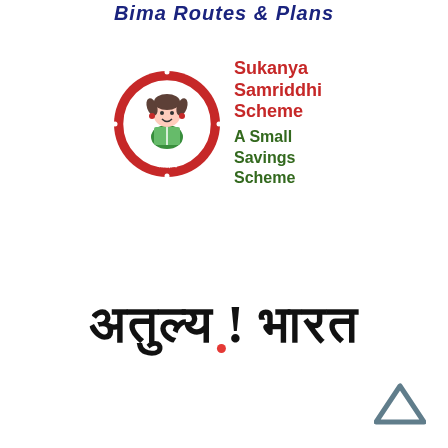Bima Routes & Plans
[Figure (logo): Sukanya Samriddhi Scheme logo: red circular badge with girl illustration, text 'Sukanya Samriddhi Scheme A Small Savings Scheme']
[Figure (logo): Incredible India logo in Hindi script: अतुल्य !भारत with red dot under exclamation mark]
[Figure (illustration): Blue upward-pointing chevron/caret navigation arrow in bottom right corner]